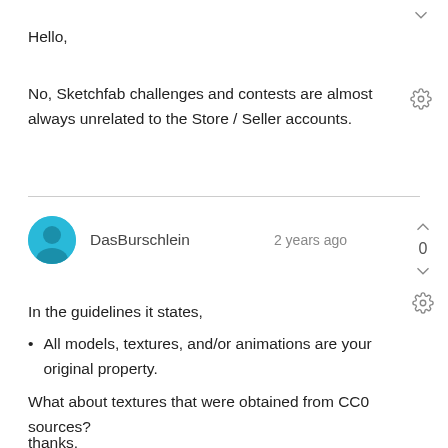Hello,
No, Sketchfab challenges and contests are almost always unrelated to the Store / Seller accounts.
DasBurschlein   2 years ago
In the guidelines it states,
All models, textures, and/or animations are your original property.
What about textures that were obtained from CC0 sources?
thanks,